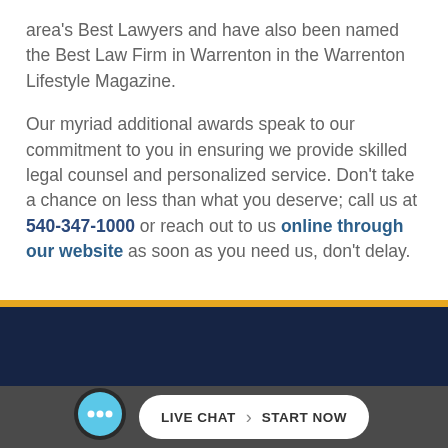area's Best Lawyers and have also been named the Best Law Firm in Warrenton in the Warrenton Lifestyle Magazine.
Our myriad additional awards speak to our commitment to you in ensuring we provide skilled legal counsel and personalized service. Don't take a chance on less than what you deserve; call us at 540-347-1000 or reach out to us online through our website as soon as you need us, don't delay.
[Figure (screenshot): Dark navy blue website footer banner with a gold/yellow top bar stripe, containing a live chat widget bar at the bottom with a circular chat bubble icon and a white pill-shaped button reading 'LIVE CHAT › START NOW' on a dark gray background.]